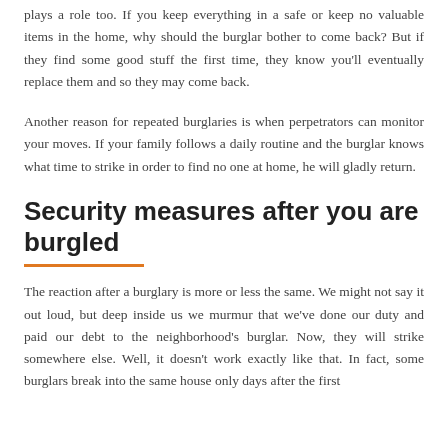plays a role too. If you keep everything in a safe or keep no valuable items in the home, why should the burglar bother to come back? But if they find some good stuff the first time, they know you'll eventually replace them and so they may come back.
Another reason for repeated burglaries is when perpetrators can monitor your moves. If your family follows a daily routine and the burglar knows what time to strike in order to find no one at home, he will gladly return.
Security measures after you are burgled
The reaction after a burglary is more or less the same. We might not say it out loud, but deep inside us we murmur that we've done our duty and paid our debt to the neighborhood's burglar. Now, they will strike somewhere else. Well, it doesn't work exactly like that. In fact, some burglars break into the same house only days after the first